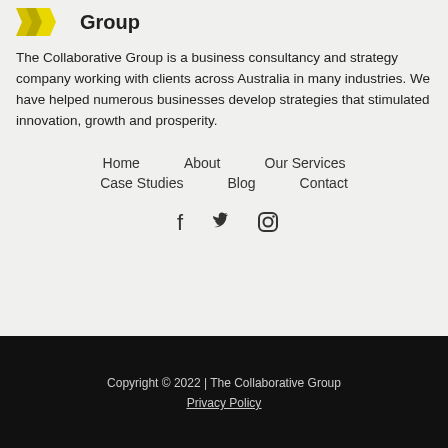[Figure (logo): The Collaborative Group logo with yellow/black chevron icon and bold 'Group' text]
The Collaborative Group is a business consultancy and strategy company working with clients across Australia in many industries. We have helped numerous businesses develop strategies that stimulated innovation, growth and prosperity.
Home
About
Our Services
Case Studies
Blog
Contact
[Figure (illustration): Social media icons: Facebook, Twitter, Instagram]
Copyright © 2022 | The Collaborative Group
Privacy Policy